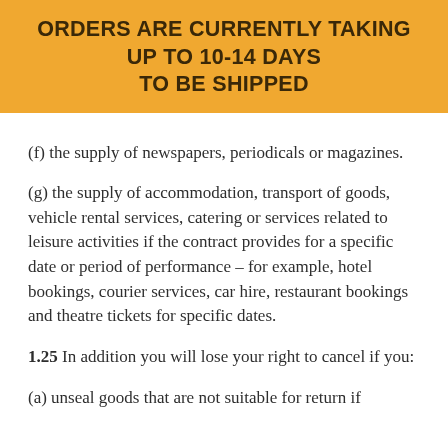ORDERS ARE CURRENTLY TAKING UP TO 10-14 DAYS TO BE SHIPPED
(f) the supply of newspapers, periodicals or magazines.
(g) the supply of accommodation, transport of goods, vehicle rental services, catering or services related to leisure activities if the contract provides for a specific date or period of performance – for example, hotel bookings, courier services, car hire, restaurant bookings and theatre tickets for specific dates.
1.25 In addition you will lose your right to cancel if you:
(a) unseal goods that are not suitable for return if